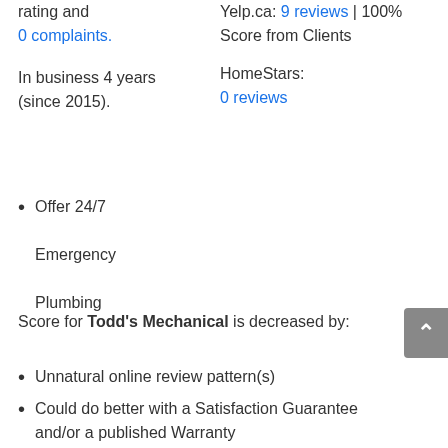rating and 0 complaints.
In business 4 years (since 2015).
Yelp.ca: 9 reviews | 100% Score from Clients
HomeStars: 0 reviews
Offer 24/7 Emergency Plumbing
Score for Todd's Mechanical is decreased by:
Unnatural online review pattern(s)
Could do better with a Satisfaction Guarantee and/or a published Warranty